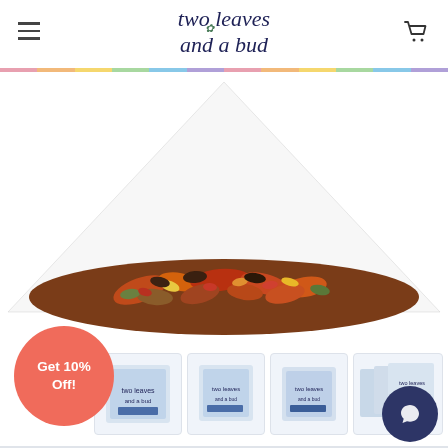[Figure (logo): Two Leaves and a Bud tea brand logo in dark navy italic script font with a small leaf icon]
[Figure (photo): Close-up of a transparent pyramid tea bag filled with loose leaf herbal tea blend showing colorful dried fruits, flowers, and tea leaves]
Get 10% Off!
[Figure (photo): Thumbnail 1: Small box of Two Leaves and a Bud tea product]
[Figure (photo): Thumbnail 2: Single box of Two Leaves and a Bud tea]
[Figure (photo): Thumbnail 3: Single box of Two Leaves and a Bud tea, slightly different angle]
[Figure (photo): Thumbnail 4: Multiple boxes of Two Leaves and a Bud tea stacked]
[Figure (other): Dark navy circular chat/message button icon]